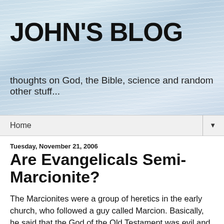JOHN'S BLOG
thoughts on God, the Bible, science and random other stuff...
Home ▼
Tuesday, November 21, 2006
Are Evangelicals Semi-Marcionite?
The Marcionites were a group of heretics in the early church, who followed a guy called Marcion. Basically, he said that the God of the Old Testament was evil and different from the God of the New Testament. He did that by deciding that a lot of what we call the Bible wasn't actually the Bible. He ditched the whole Old Testament and large chunks of the New, including most of the gospels, and even bits of the ones he kept.
I think there's a danger that evangelicals do that today in a